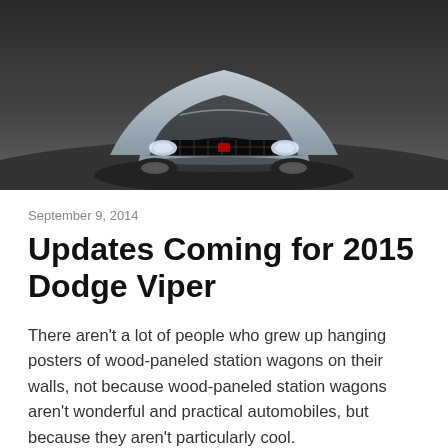[Figure (photo): Front view of a silver/grey Dodge Viper sports car on a dark road surface, photographed from slightly above and in front.]
September 9, 2014
Updates Coming for 2015 Dodge Viper
There aren't a lot of people who grew up hanging posters of wood-paneled station wagons on their walls, not because wood-paneled station wagons aren't wonderful and practical automobiles, but because they aren't particularly cool.
The Dodge Viper, on the other hand, remains one of the coolest vehicles in the industry. There were (and are) plenty of posters hanging up for that car, and